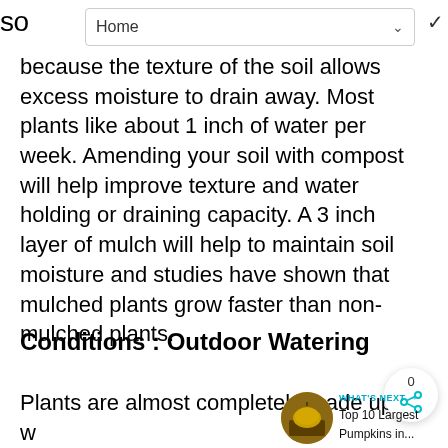Home
because the texture of the soil allows excess moisture to drain away. Most plants like about 1 inch of water per week. Amending your soil with compost will help improve texture and water holding or draining capacity. A 3 inch layer of mulch will help to maintain soil moisture and studies have shown that mulched plants grow faster than non-mulched plants.
Conditions : Outdoor Watering
Plants are almost completely made up of w... so it is important to supply them with... water to maintain good plant health. ... enough water and roots will wither and the